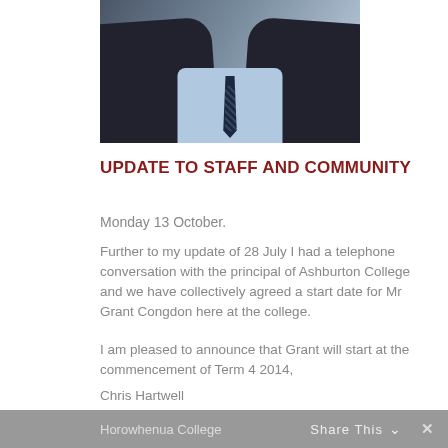[Figure (photo): Photo of a person in a dark suit and blue shirt with a dark tie, cropped to show the torso and lower face area]
UPDATE TO STAFF AND COMMUNITY
Monday 13 October.
Further to my update of 28 July I had a telephone conversation with the principal of Ashburton College and we have collectively agreed a start date for Mr Grant Congdon here at the college.
I am pleased to announce that Grant will start at the commencement of Term 4 2014,
Chris Hartwell
Board Chair
Horowhenua College  Share This  ✕